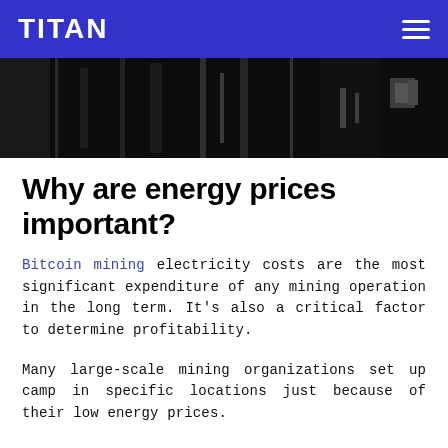TITAN
[Figure (photo): Dark abstract background image, likely showing mining hardware or equipment in silhouette with dark tones]
Why are energy prices important?
Bitcoin mining electricity costs are the most significant expenditure of any mining operation in the long term. It's also a critical factor to determine profitability.
Many large-scale mining organizations set up camp in specific locations just because of their low energy prices.